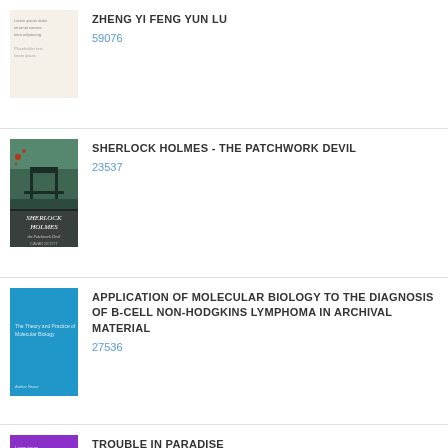[Figure (illustration): Book cover for ZHENG YI FENG YUN LU - plain off-white cover with small text]
ZHENG YI FENG YUN LU
59076
[Figure (illustration): Book cover for Sherlock Holmes The Patchwork Devil by Cavan Scott - dark green atmospheric cover with Tower Bridge]
SHERLOCK HOLMES - THE PATCHWORK DEVIL
23537
[Figure (illustration): Book cover - bright blue cover with small white text, academic publication]
APPLICATION OF MOLECULAR BIOLOGY TO THE DIAGNOSIS OF B-CELL NON-HODGKINS LYMPHOMA IN ARCHIVAL MATERIAL
27536
[Figure (illustration): Book cover - purple and black cover with colored bands]
TROUBLE IN PARADISE
10775